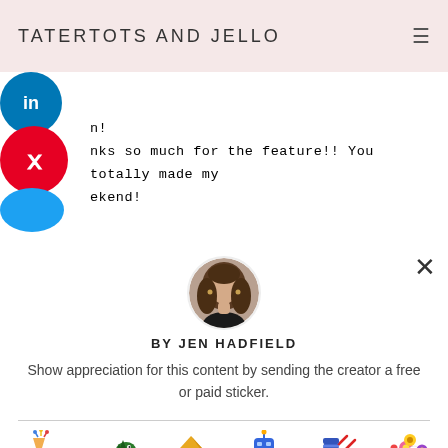TATERTOTS AND JELLO
nks so much for the feature!! You totally made my ekend!
[Figure (photo): Circular profile photo of Jen Hadfield, a woman with long brown hair wearing a black top]
BY JEN HADFIELD
Show appreciation for this content by sending the creator a free or paid sticker.
[Figure (illustration): Six sticker options in a row: Free (star/mushroom/firework cluster), $1.00 (green dinosaur), $2.00 (gold origami crane), $4.00 (blue robot), $8.00 (blue knitted sock), $12.00 (flower bouquet)]